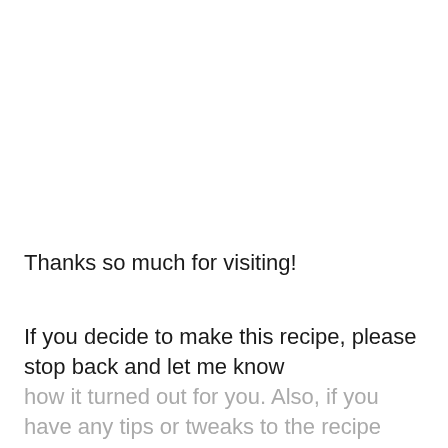Thanks so much for visiting!
If you decide to make this recipe, please stop back and let me know how it turned out for you. Also, if you have any tips or tweaks to the recipe